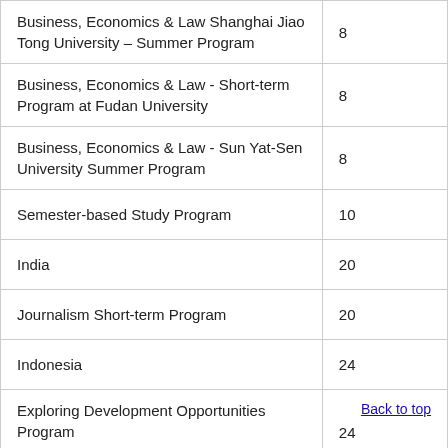| Program | Credits |
| --- | --- |
| Business, Economics & Law Shanghai Jiao Tong University – Summer Program | 8 |
| Business, Economics & Law - Short-term Program at Fudan University | 8 |
| Business, Economics & Law - Sun Yat-Sen University Summer Program | 8 |
| Semester-based Study Program | 10 |
| India | 20 |
| Journalism Short-term Program | 20 |
| Indonesia | 24 |
| Exploring Development Opportunities Program | 24 |